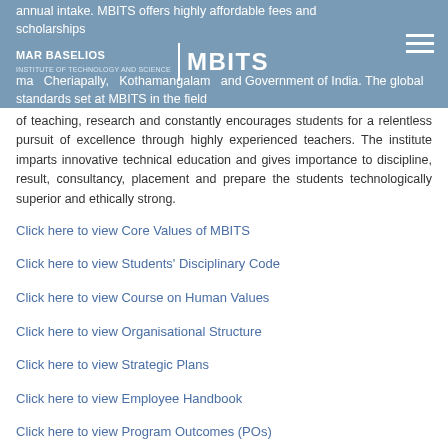MAR BASELIOS | MBITS — annual intake. MBITS offers highly affordable fees and scholarships ... Cheriapally, Kothamangalam and Government of India. The global standards set at MBITS in the field
of teaching, research and constantly encourages students for a relentless pursuit of excellence through highly experienced teachers. The institute imparts innovative technical education and gives importance to discipline, result, consultancy, placement and prepare the students technologically superior and ethically strong.
Click here to view Core Values of MBITS
Click here to view Students' Disciplinary Code
Click here to view Course on Human Values
Click here to view Organisational Structure
Click here to view Strategic Plans
Click here to view Employee Handbook
Click here to view Program Outcomes (POs)
Click here to view Board of Governors